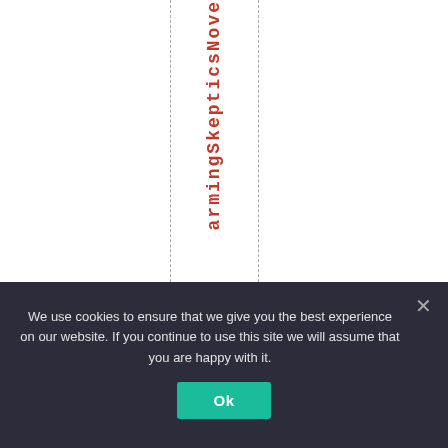[Figure (other): White background with two vertical dashed gray lines and vertical red text reading 'armingSkepticsNove' arranged character by character down the center column between the dashed lines.]
We use cookies to ensure that we give you the best experience on our website. If you continue to use this site we will assume that you are happy with it.